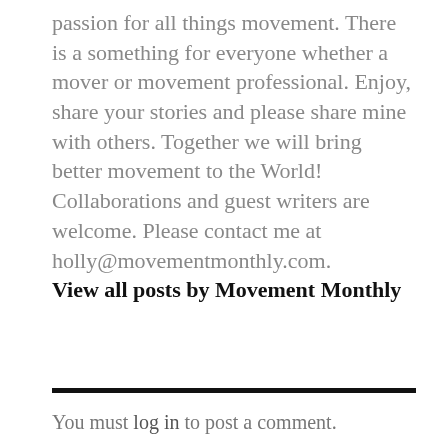passion for all things movement. There is a something for everyone whether a mover or movement professional. Enjoy, share your stories and please share mine with others. Together we will bring better movement to the World! Collaborations and guest writers are welcome. Please contact me at holly@movementmonthly.com. View all posts by Movement Monthly
You must log in to post a comment.